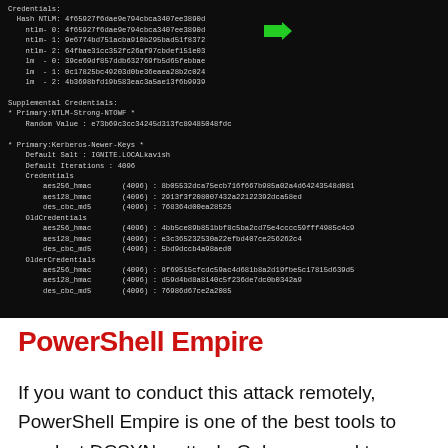[Figure (screenshot): Terminal/command-line output showing credential hashes including NTLM, LM, and Kerberos keys with supplemental credentials data on a dark background]
PowerShell Empire
If you want to conduct this attack remotely, PowerShell Empire is one of the best tools to conduct DCSYNC attack. Only you need to compromise the machine who is